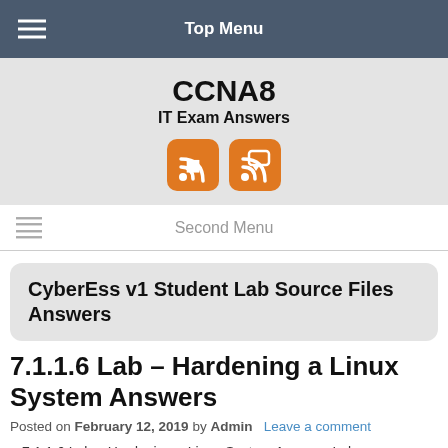Top Menu
CCNA8
IT Exam Answers
Second Menu
CyberEss v1 Student Lab Source Files Answers
7.1.1.6 Lab – Hardening a Linux System Answers
Posted on February 12, 2019 by Admin   Leave a comment
7.1.1.6 Lab – Hardening a Linux System Answers Lab –